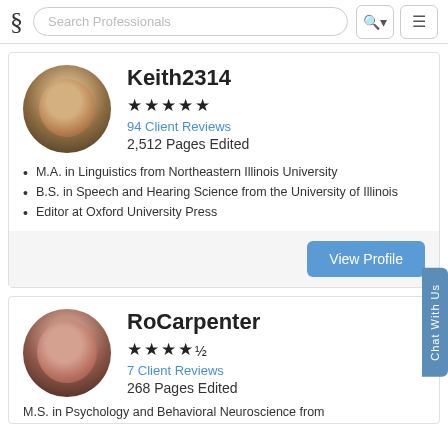Search Professionals
[Figure (photo): Profile photo of Keith2314, a man with glasses]
Keith2314
★★★★★ 94 Client Reviews 2,512 Pages Edited
M.A. in Linguistics from Northeastern Illinois University
B.S. in Speech and Hearing Science from the University of Illinois
Editor at Oxford University Press
View Profile
[Figure (photo): Profile photo of RoCarpenter, a young woman]
RoCarpenter
★★★★½ 7 Client Reviews 268 Pages Edited